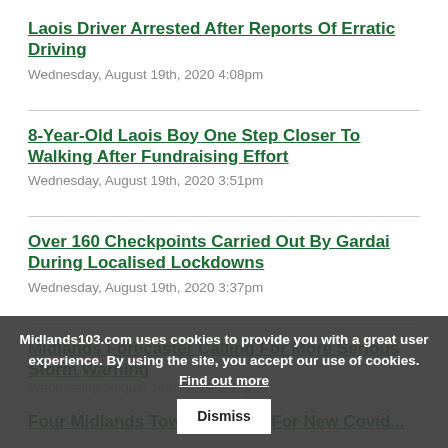Laois Driver Arrested After Reports Of Erratic Driving
Wednesday, August 19th, 2020 4:08pm
8-Year-Old Laois Boy One Step Closer To Walking After Fundraising Effort
Wednesday, August 19th, 2020 3:51pm
Over 160 Checkpoints Carried Out By Gardai During Localised Lockdowns
Wednesday, August 19th, 2020 3:37pm
Midlands Forecaster Calling For More Serious Storm Warning
Wednesday, August 19th, 2020 3:12pm
Four Midlands Towns Eligible For New Covid...
Midlands103.com uses cookies to provide you with a great user experience. By using the site, you accept our use of cookies. Find out more  Dismiss